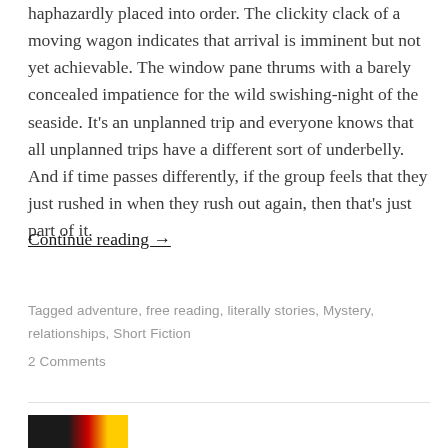haphazardly placed into order. The clickity clack of a moving wagon indicates that arrival is imminent but not yet achievable. The window pane thrums with a barely concealed impatience for the wild swishing-night of the seaside. It's an unplanned trip and everyone knows that all unplanned trips have a different sort of underbelly. And if time passes differently, if the group feels that they just rushed in when they rush out again, then that's just part of it.
Continue reading →
Tagged adventure, free reading, literally stories, Mystery, relationships, Short Fiction
2 Comments
[Figure (other): Partial image visible at the bottom of the page showing a dark background with red and yellow colors, partially cut off]